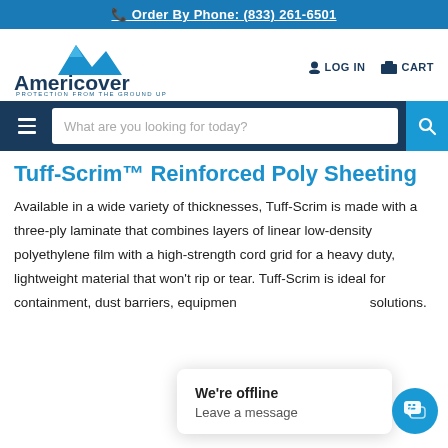Order By Phone: (833) 261-6501
[Figure (logo): Americover logo with mountain icon and tagline PROTECTION FROM THE GROUND UP]
LOG IN   CART
[Figure (screenshot): Navigation bar with hamburger menu and search box: What are you looking for today?]
Tuff-Scrim™ Reinforced Poly Sheeting
Available in a wide variety of thicknesses, Tuff-Scrim is made with a three-ply laminate that combines layers of linear low-density polyethylene film with a high-strength cord grid for a heavy duty, lightweight material that won't rip or tear. Tuff-Scrim is ideal for containment, dust barriers, equipment and more temporary solutions.
We're offline
Leave a message